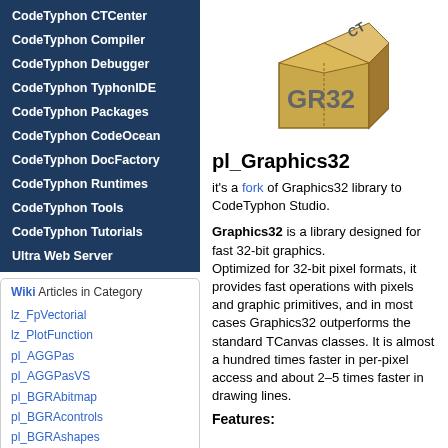CodeTyphon CTCenter
CodeTyphon Compiler
CodeTyphon Debugger
CodeTyphon TyphonIDE
CodeTyphon Packages
CodeTyphon CodeOcean
CodeTyphon DocFactory
CodeTyphon Runtimes
CodeTyphon Tools
CodeTyphon Tutorials
Ultra Web Server
Wiki Articles in Category
lz_FpVectorial
lz_PlotFunction
pl_AGGPas
pl_AGGPasVS
pl_BGRAbitmap
pl_BGRAcontrols
pl_BGRAshapes
pl_BGRAextra
pl_ColorLib
pl_Graphics32
[Figure (illustration): 3D box icon with CT label on top and GR32 text on front, tan/gold colored cardboard box]
pl_Graphics32
it's a fork of Graphics32 library to CodeTyphon Studio.
Graphics32 is a library designed for fast 32-bit graphics. Optimized for 32-bit pixel formats, it provides fast operations with pixels and graphic primitives, and in most cases Graphics32 outperforms the standard TCanvas classes. It is almost a hundred times faster in per-pixel access and about 2–5 times faster in drawing lines.
Features: